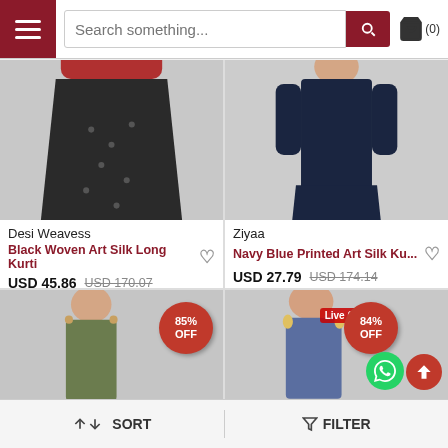Search something...
[Figure (photo): Woman wearing black woven art silk long kurti with red pants and sandals, Desi Weavess brand]
Desi Weavess
Black Woven Art Silk Long Kurti
USD 45.86  USD 170.07
[Figure (photo): Woman wearing navy blue printed art silk kurti with navy pants and flats, Ziyaa brand]
Ziyaa
Navy Blue Printed Art Silk Ku...
USD 27.79  USD 174.14
[Figure (photo): Partial view of woman in olive top with 85% OFF badge]
[Figure (photo): Partial view of woman in blue outfit with Live Chat and 84% OFF badge]
SORT   FILTER